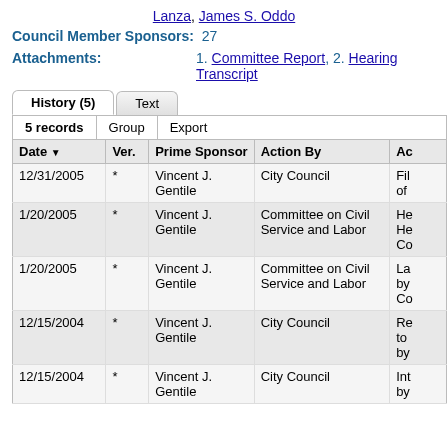Lanza, James S. Oddo
Council Member Sponsors: 27
Attachments: 1. Committee Report, 2. Hearing Transcript
| Date | Ver. | Prime Sponsor | Action By | Ac |
| --- | --- | --- | --- | --- |
| 12/31/2005 | * | Vincent J. Gentile | City Council | Fil of |
| 1/20/2005 | * | Vincent J. Gentile | Committee on Civil Service and Labor | He He Co |
| 1/20/2005 | * | Vincent J. Gentile | Committee on Civil Service and Labor | La by Co |
| 12/15/2004 | * | Vincent J. Gentile | City Council | Re to by |
| 12/15/2004 | * | Vincent J. Gentile | City Council | Int by |